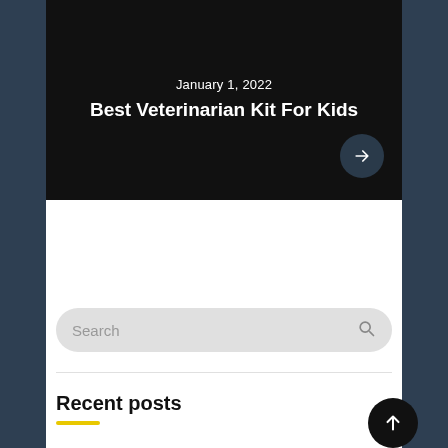January 1, 2022
Best Veterinarian Kit For Kids
Search
Recent posts